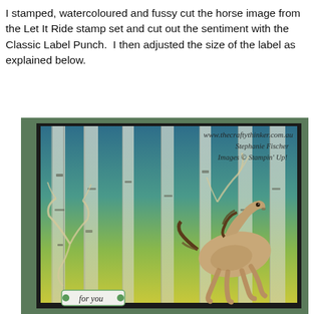I stamped, watercoloured and fussy cut the horse image from the Let It Ride stamp set and cut out the sentiment with the Classic Label Punch.  I then adjusted the size of the label as explained below.
[Figure (photo): A handmade greeting card featuring a watercoloured horse running through birch trees. The background is watercoloured in teal/blue at top fading to yellow-green at bottom. A fussy-cut horse is placed in the lower right. Antler/branch embellishments are visible. A label tag reading 'for you' is at the bottom. Watermark text reads: www.thecraftythinker.com.au / Stephanie Fischer / Images © Stampin' Up!]